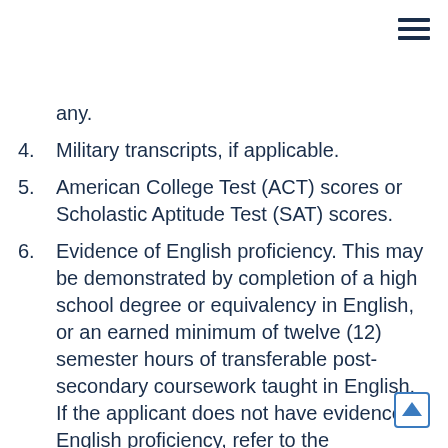any.
4. Military transcripts, if applicable.
5. American College Test (ACT) scores or Scholastic Aptitude Test (SAT) scores.
6. Evidence of English proficiency. This may be demonstrated by completion of a high school degree or equivalency in English, or an earned minimum of twelve (12) semester hours of transferable post-secondary coursework taught in English. If the applicant does not have evidence of English proficiency, refer to the information outlined in the